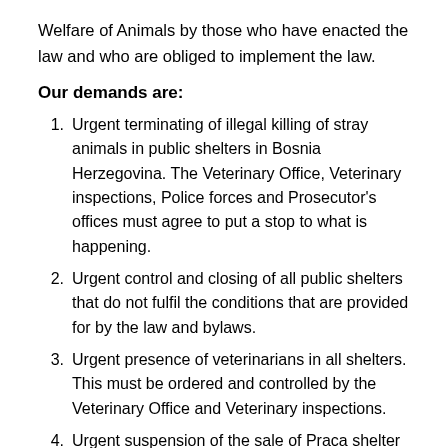Welfare of Animals by those who have enacted the law and who are obliged to implement the law.
Our demands are:
1. Urgent terminating of illegal killing of stray animals in public shelters in Bosnia Herzegovina. The Veterinary Office, Veterinary inspections, Police forces and Prosecutor's offices must agree to put a stop to what is happening.
2. Urgent control and closing of all public shelters that do not fulfil the conditions that are provided for by the law and bylaws.
3. Urgent presence of veterinarians in all shelters. This must be ordered and controlled by the Veterinary Office and Veterinary inspections.
4. Urgent suspension of the sale of Praca shelter to the